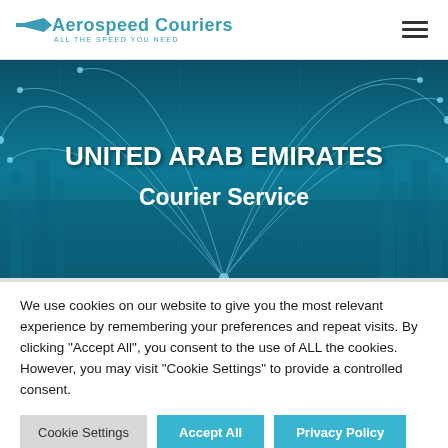Aerospeed Couriers — ALL THE SPEED YOU NEED
[Figure (illustration): Hero banner with teal network/connectivity background showing city skyline with glowing arc connection lines overlaid. Text reads: UNITED ARAB EMIRATES Courier Service]
UNITED ARAB EMIRATES Courier Service
We use cookies on our website to give you the most relevant experience by remembering your preferences and repeat visits. By clicking "Accept All", you consent to the use of ALL the cookies. However, you may visit "Cookie Settings" to provide a controlled consent.
Cookie Settings | Accept All | Privacy Policy